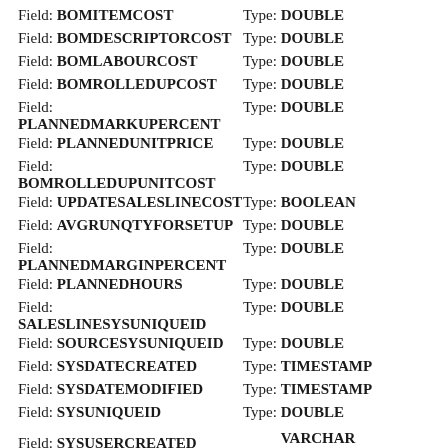Field: BOMITEMCOST  Type: DOUBLE
Field: BOMDESCRIPTORCOST  Type: DOUBLE
Field: BOMLABOURCOST  Type: DOUBLE
Field: BOMROLLEDUPCOST  Type: DOUBLE
Field: PLANNEDMARKUPERCENT  Type: DOUBLE
Field: PLANNEDUNITPRICE  Type: DOUBLE
Field: BOMROLLEDUPUNITCOST  Type: DOUBLE
Field: UPDATESALESLINECOST  Type: BOOLEAN
Field: AVGRUNQTYFORSETUP  Type: DOUBLE
Field: PLANNEDMARGINPERCENT  Type: DOUBLE
Field: PLANNEDHOURS  Type: DOUBLE
Field: SALESLINESYSUNIQUEID  Type: DOUBLE
Field: SOURCESYSUNIQUEID  Type: DOUBLE
Field: SYSDATECREATED  Type: TIMESTAMP
Field: SYSDATEMODIFIED  Type: TIMESTAMP
Field: SYSUNIQUEID  Type: DOUBLE
Field: SYSUSERCREATED  Type: VARCHAR Length: 30
Field: SYSUSERMODIFIED  Type: VARCHAR Length: 30